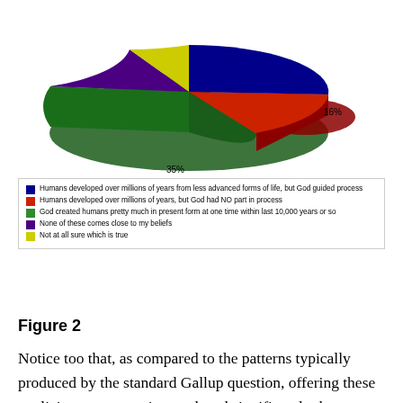[Figure (pie-chart): Beliefs about human origins]
Figure 2
Notice too that, as compared to the patterns typically produced by the standard Gallup question, offering these explicit response options reduced significantly the percentage of both self-reported creationists (35% vs. 44% in the 2008 Gallup Poll) and theistic evolutionists (26% vs. 36% in Gallup), with